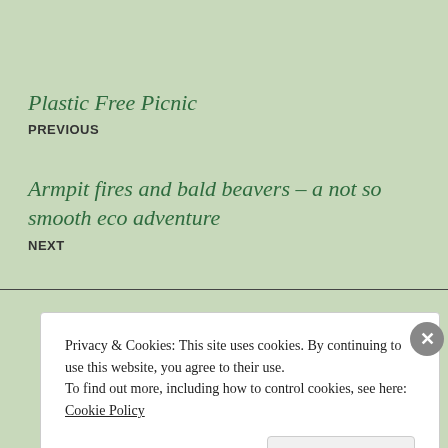Plastic Free Picnic
PREVIOUS
Armpit fires and bald beavers – a not so smooth eco adventure
NEXT
Privacy & Cookies: This site uses cookies. By continuing to use this website, you agree to their use.
To find out more, including how to control cookies, see here: Cookie Policy
Close and accept